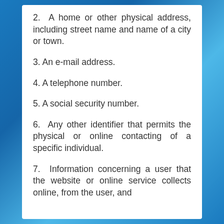2.  A home or other physical address, including street name and name of a city or town.
3. An e-mail address.
4. A telephone number.
5. A social security number.
6.  Any other identifier that permits the physical or online contacting of a specific individual.
7.  Information concerning a user that the website or online service collects online, from the user, and